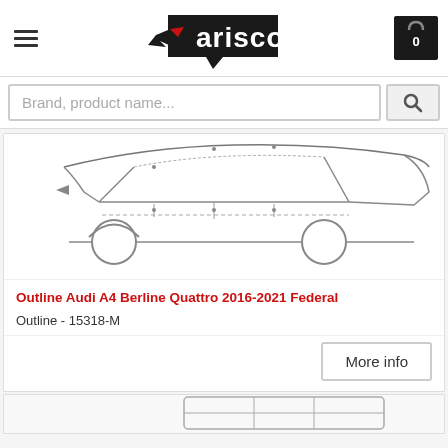[Figure (logo): Arisco brand logo with bird/arrow icon in black and red, white background]
[Figure (illustration): Cart icon showing 0 items, black background with white text]
Brand, product name...
[Figure (illustration): Line drawing outline diagram of Audi A4 Berline Quattro showing window trim and door molding positions]
Outline Audi A4 Berline Quattro 2016-2021 Federal
Outline - 15318-M
More info
[Figure (illustration): Partial view of second product image showing a vehicle from above/side (partially visible at bottom of page)]